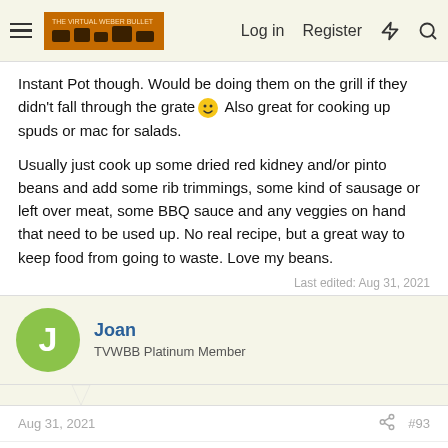Log in  Register
Instant Pot though. Would be doing them on the grill if they didn't fall through the grate 🙂 Also great for cooking up spuds or mac for salads.
Usually just cook up some dried red kidney and/or pinto beans and add some rib trimmings, some kind of sausage or left over meat, some BBQ sauce and any veggies on hand that need to be used up. No real recipe, but a great way to keep food from going to waste. Love my beans.
Last edited: Aug 31, 2021
Joan
TVWBB Platinum Member
Aug 31, 2021  #93
Bob, does that mean you will be making the recipe Bill posted.?